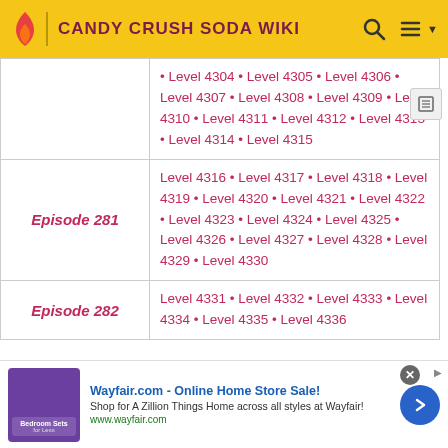CANDY CRUSH SODA WIKI
| Episode | Levels |
| --- | --- |
|  | Level 4304 • Level 4305 • Level 4306 • Level 4307 • Level 4308 • Level 4309 • Level 4310 • Level 4311 • Level 4312 • Level 4313 • Level 4314 • Level 4315 |
| Episode 281 | Level 4316 • Level 4317 • Level 4318 • Level 4319 • Level 4320 • Level 4321 • Level 4322 • Level 4323 • Level 4324 • Level 4325 • Level 4326 • Level 4327 • Level 4328 • Level 4329 • Level 4330 |
| Episode 282 | Level 4331 • Level 4332 • Level 4333 • Level 4334 • Level 4335 • Level 4336 |
Wayfair.com - Online Home Store Sale! Shop for A Zillion Things Home across all styles at Wayfair! www.wayfair.com